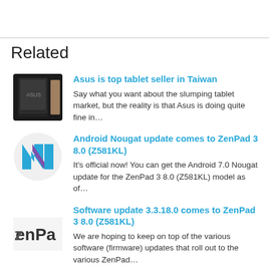Related
Asus is top tablet seller in Taiwan
Say what you want about the slumping tablet market, but the reality is that Asus is doing quite fine in…
Android Nougat update comes to ZenPad 3 8.0 (Z581KL)
It's official now! You can get the Android 7.0 Nougat update for the ZenPad 3 8.0 (Z581KL) model as of…
Software update 3.3.18.0 comes to ZenPad 3 8.0 (Z581KL)
We are hoping to keep on top of the various software (firmware) updates that roll out to the various ZenPad…
New hands-on video with the ZenPad 3 8.0 (Z581KL) tablet